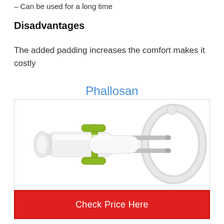– Can be used for a long time
Disadvantages
The added padding increases the comfort makes it costly
Phallosan
[Figure (photo): Photo of the Phallosan device — a medical/extension device with a white cylindrical body, green handle/frame component, chrome rods, and a clear loop ring on the right end.]
Check Price Here